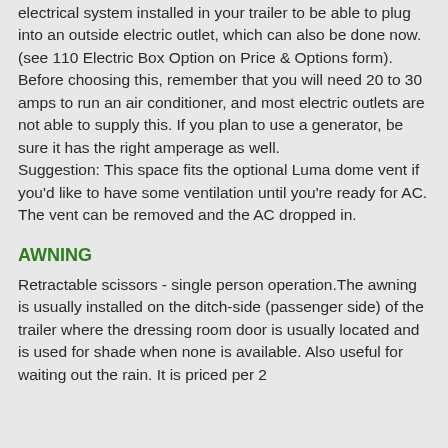electrical system installed in your trailer to be able to plug into an outside electric outlet, which can also be done now. (see 110 Electric Box Option on Price & Options form). Before choosing this, remember that you will need 20 to 30 amps to run an air conditioner, and most electric outlets are not able to supply this. If you plan to use a generator, be sure it has the right amperage as well. Suggestion: This space fits the optional Luma dome vent if you'd like to have some ventilation until you're ready for AC. The vent can be removed and the AC dropped in.
AWNING
Retractable scissors - single person operation.The awning is usually installed on the ditch-side (passenger side) of the trailer where the dressing room door is usually located and is used for shade when none is available. Also useful for waiting out the rain. It is priced per 2